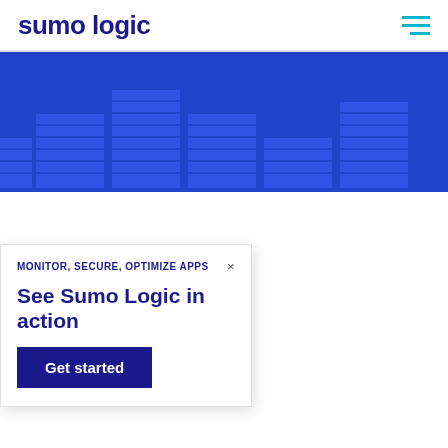sumo logic
[Figure (bar-chart): Decorative bar chart graphic with multiple columns of stacked light-blue bars on a dark blue background, used as a hero/banner image]
...istrator will tell ul tool for lplication. In fact, e primary source of functioning.
MONITOR, SECURE, OPTIMIZE APPS
See Sumo Logic in action
Get started
One specific log file that can be used in debugging